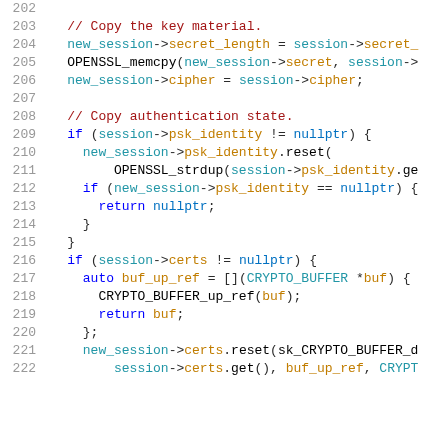Source code listing lines 202-222, showing C++ session management code with comments, conditionals, and function calls.